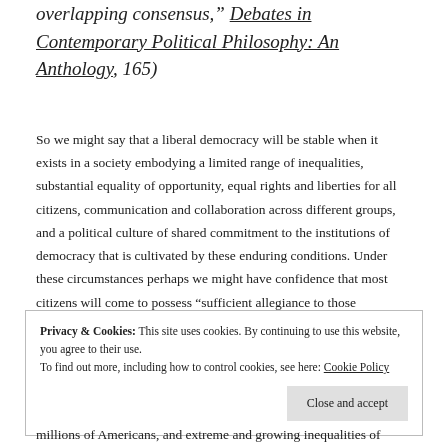overlapping consensus," Debates in Contemporary Political Philosophy: An Anthology, 165)
So we might say that a liberal democracy will be stable when it exists in a society embodying a limited range of inequalities, substantial equality of opportunity, equal rights and liberties for all citizens, communication and collaboration across different groups, and a political culture of shared commitment to the institutions of democracy that is cultivated by these enduring conditions. Under these circumstances perhaps we might have confidence that most citizens will come to possess “sufficient allegiance to those
Privacy & Cookies: This site uses cookies. By continuing to use this website, you agree to their use.
To find out more, including how to control cookies, see here: Cookie Policy
millions of Americans, and extreme and growing inequalities of